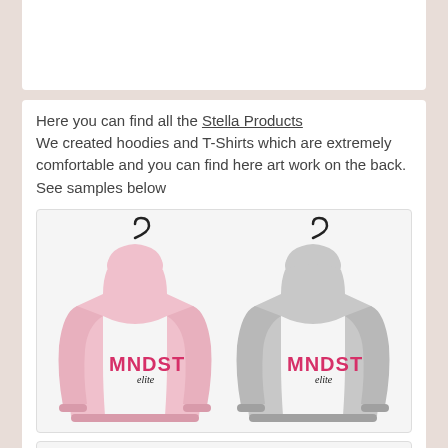Here you can find all the Stella Products We created hoodies and T-Shirts which are extremely comfortable and you can find here art work on the back. See samples below
[Figure (photo): Two hoodies shown from the back on hangers — one pink and one grey — both with 'MNDST' logo printed in pink on the back]
[Figure (photo): Two hoodies shown from the back on hangers — one white and one grey — partially visible at bottom of page]